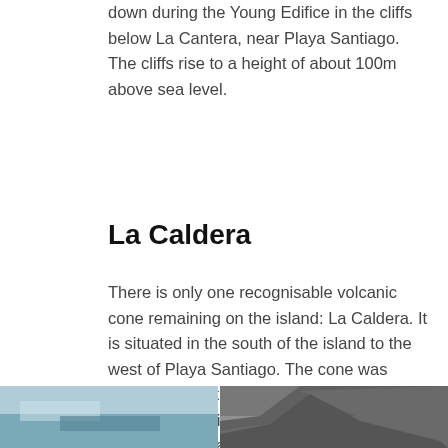down during the Young Edifice in the cliffs below La Cantera, near Playa Santiago. The cliffs rise to a height of about 100m above sea level.
La Caldera
There is only one recognisable volcanic cone remaining on the island: La Caldera. It is situated in the south of the island to the west of Playa Santiago. The cone was formed during the Young Edifice about 4.2 Ma. The best views of La Caldera can be seen along a narrow footpath leading from Quise down to Cala Cantera. Much of the landscape near La Caldera is covered by red coloured, highly weathered scoria (Fig. 17).
[Figure (photo): Bottom strip showing two photographs partially visible: left shows a coastal/water scene (blue tones), right shows a rocky volcanic formation (grey tones).]